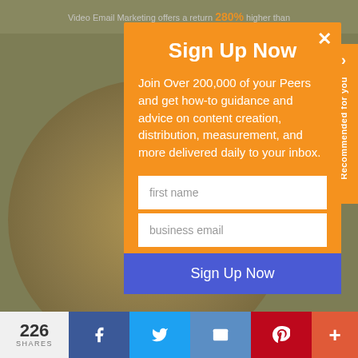[Figure (screenshot): Background of a website page showing blurred content with text 'Video Email Marketing offers a return 280% higher than']
Sign Up Now
Join Over 200,000 of your Peers and get how-to guidance and advice on content creation, distribution, measurement, and more delivered daily to your inbox.
first name
business email
Sign Up Now
Recommended for you
226
SHARES